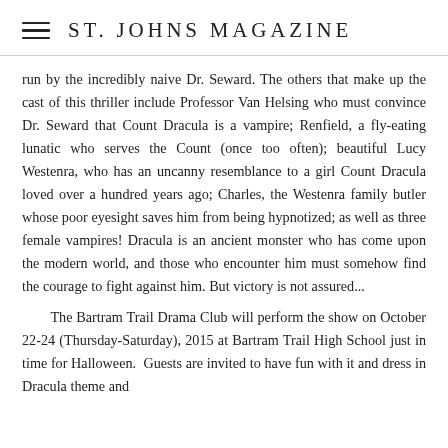ST. JOHNS MAGAZINE
run by the incredibly naive Dr. Seward. The others that make up the cast of this thriller include Professor Van Helsing who must convince Dr. Seward that Count Dracula is a vampire; Renfield, a fly-eating lunatic who serves the Count (once too often); beautiful Lucy Westenra, who has an uncanny resemblance to a girl Count Dracula loved over a hundred years ago; Charles, the Westenra family butler whose poor eyesight saves him from being hypnotized; as well as three female vampires! Dracula is an ancient monster who has come upon the modern world, and those who encounter him must somehow find the courage to fight against him. But victory is not assured...
The Bartram Trail Drama Club will perform the show on October 22-24 (Thursday-Saturday), 2015 at Bartram Trail High School just in time for Halloween.  Guests are invited to have fun with it and dress in Dracula theme and